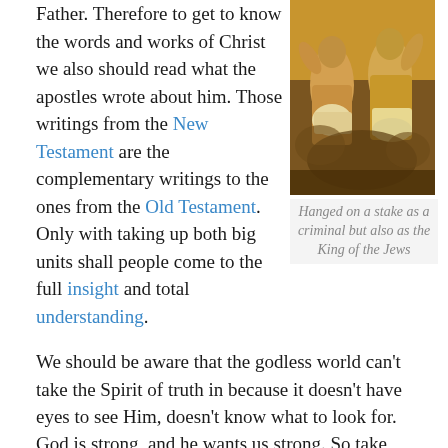Father. Therefore to get to know the words and works of Christ we also should read what the apostles wrote about him. Those writings from the New Testament are the complementary writings to the ones from the Old Testament. Only with taking up both big units shall people come to the full insight and total understanding.
[Figure (illustration): Painting depicting figures hanged on a stake, rendered in warm golden and brown tones]
Hanged on a stake as a criminal but also as the King of the Jews
We should be aware that the godless world can’t take the Spirit of truth in because it doesn’t have eyes to see Him, doesn’t know what to look for.
God is strong, and he wants us strong. So take everything